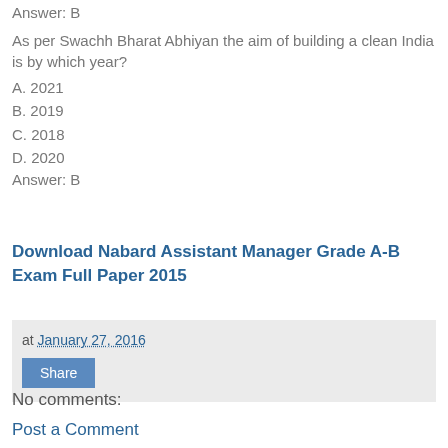Answer: B
As per Swachh Bharat Abhiyan the aim of building a clean India is by which year?
A. 2021
B. 2019
C. 2018
D. 2020
Answer: B
Download Nabard Assistant Manager Grade A-B Exam Full Paper 2015
at January 27, 2016
Share
No comments:
Post a Comment